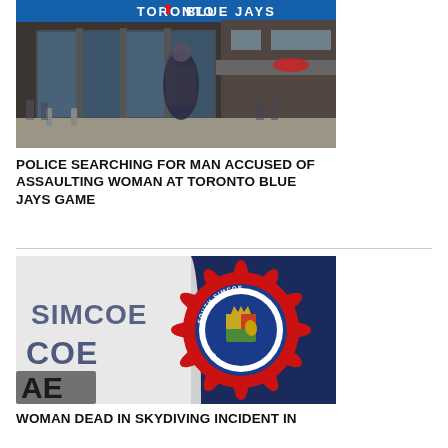[Figure (photo): Exterior photo of Toronto Blue Jays stadium entrance/store with 'TORONTO BLUE JAYS' signage visible, a person walking in motion blur in the foreground.]
POLICE SEARCHING FOR MAN ACCUSED OF ASSAULTING WOMAN AT TORONTO BLUE JAYS GAME
[Figure (photo): Close-up photo of a South Simcoe Police vehicle door showing the South Simcoe Police badge/crest with maple leaf design.]
WOMAN DEAD IN SKYDIVING INCIDENT IN